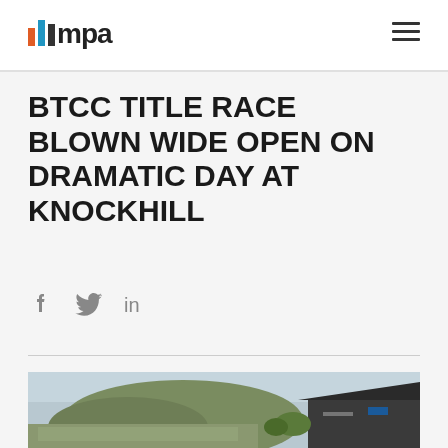mpa logo and navigation menu
BTCC TITLE RACE BLOWN WIDE OPEN ON DRAMATIC DAY AT KNOCKHILL
[Figure (other): Social share icons: Facebook, Twitter, LinkedIn]
[Figure (photo): Photograph of Knockhill racing circuit with a green hill in the background and spectators, BMW hospitality structure visible on the right]